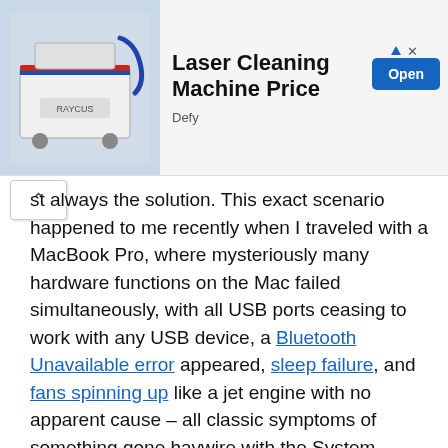[Figure (screenshot): Advertisement banner for 'Laser Cleaning Machine Price' by Defy, with an image of a white industrial laser cleaning machine on the left, bold title text in the center, and a blue 'Open' button on the right.]
st always the solution. This exact scenario happened to me recently when I traveled with a MacBook Pro, where mysteriously many hardware functions on the Mac failed simultaneously, with all USB ports ceasing to work with any USB device, a Bluetooth Unavailable error appeared, sleep failure, and fans spinning up like a jet engine with no apparent cause – all classic symptoms of something gone haywire with the System Management Controller, all easily resolved by the reset process outlined above and here. Of course, I'm an experienced Mac user so I knew this this, but given that many other Mac users out there are less familiar, this type of troubleshooting is always worth covering and sharing.